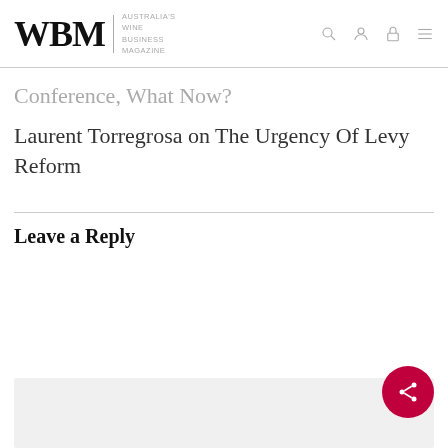WBM | AUSTRALIA'S WINE BUSINESS MAGAZINE
Conference, What Now?
Laurent Torregrosa on The Urgency Of Levy Reform
Leave a Reply